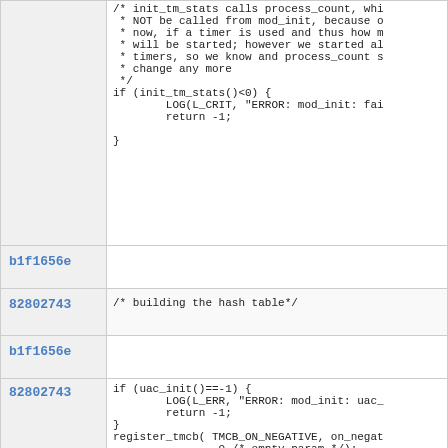| id | code |
| --- | --- |
|  | /* init_tm_stats calls process_count, whi
 * NOT be called from mod_init, because o
 * now, if a timer is used and thus how m
 * will be started; however we started al
 * timers, so we know and process_count s
 * change any more
 */
if (init_tm_stats()<0) {
        LOG(L_CRIT, "ERROR: mod_init: fai
        return -1;

} |
| b1f1656e |  |
| 82802743 | /* building the hash table*/ |
| b1f1656e |  |
| 82802743 | if (uac_init()==-1) {
        LOG(L_ERR, "ERROR: mod_init: uac_
        return -1;
}
register_tmcb( TMCB_ON_NEGATIVE, on_negat
                0 /* empty param */);
/* register post-script clean-up function |